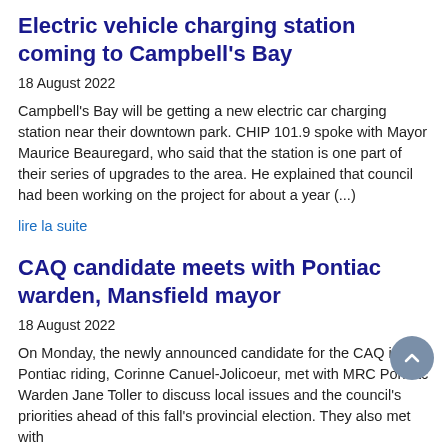Electric vehicle charging station coming to Campbell's Bay
18 August 2022
Campbell's Bay will be getting a new electric car charging station near their downtown park. CHIP 101.9 spoke with Mayor Maurice Beauregard, who said that the station is one part of their series of upgrades to the area. He explained that council had been working on the project for about a year (...)
lire la suite
CAQ candidate meets with Pontiac warden, Mansfield mayor
18 August 2022
On Monday, the newly announced candidate for the CAQ in the Pontiac riding, Corinne Canuel-Jolicoeur, met with MRC Pontiac Warden Jane Toller to discuss local issues and the council's priorities ahead of this fall's provincial election. They also met with